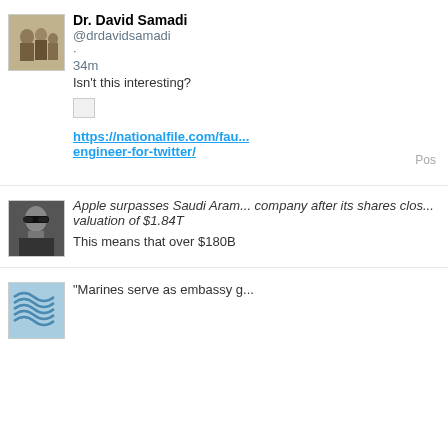[Figure (screenshot): Social media feed showing three tweet/post entries. First tweet by Dr. David Samadi (@drdavidsamadi), posted 34m ago, text 'Isn't this interesting?' with a broken image and a link to nationalfile.com. Second post with a man in sunglasses avatar, italic text about Apple surpassing Saudi Aramco with valuation of $1.84T and text about $180B. Third post with a logo avatar starting with quote about Marines serving as embassy guards.]